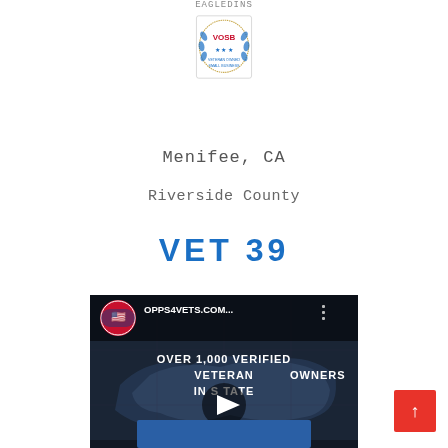[Figure (logo): VOSB (Veteran-Owned Small Business) circular badge/seal with laurel wreath border, blue and red text, centered at top of page]
Menifee, CA
Riverside County
VET 39
[Figure (screenshot): YouTube video thumbnail for OPPS4VETS.COM showing text 'OVER 1,000 VERIFIED VETERAN [owned] BUSINESS OWNERS IN S[OUTHERN] STATE' with play button overlay, dark background with US map graphic]
[Figure (other): Red scroll-to-top button with upward arrow, bottom right corner]
[Figure (other): Blue button at bottom center, partially visible]